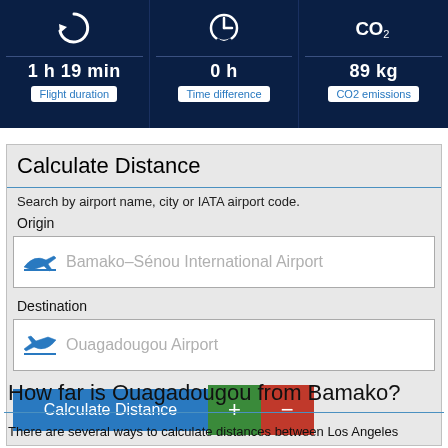[Figure (infographic): Three stat cards: Flight duration 1h 19min, Time difference 0h, CO2 emissions 89kg]
Calculate Distance
Search by airport name, city or IATA airport code.
Origin
Bamako–Sénou International Airport
Destination
Ouagadougou Airport
Calculate Distance
How far is Ouagadougou from Bamako?
There are several ways to calculate distances between Los Angeles